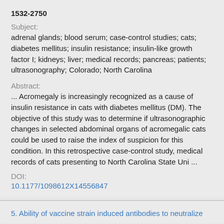1532-2750
Subject:
adrenal glands; blood serum; case-control studies; cats; diabetes mellitus; insulin resistance; insulin-like growth factor I; kidneys; liver; medical records; pancreas; patients; ultrasonography; Colorado; North Carolina
Abstract:
... Acromegaly is increasingly recognized as a cause of insulin resistance in cats with diabetes mellitus (DM). The objective of this study was to determine if ultrasonographic changes in selected abdominal organs of acromegalic cats could be used to raise the index of suspicion for this condition. In this retrospective case-control study, medical records of cats presenting to North Carolina State Uni ...
DOI:
10.1177/1098612X14556847
5. Ability of vaccine strain induced antibodies to neutralize